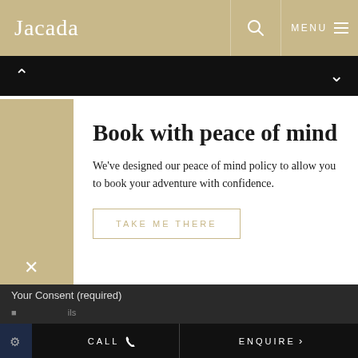Jacada
[Figure (screenshot): Website navigation bar with search and menu icons on gold background]
Book with peace of mind
We've designed our peace of mind policy to allow you to book your adventure with confidence.
TAKE ME THERE
Your Consent (required)
CALL  ENQUIRE >